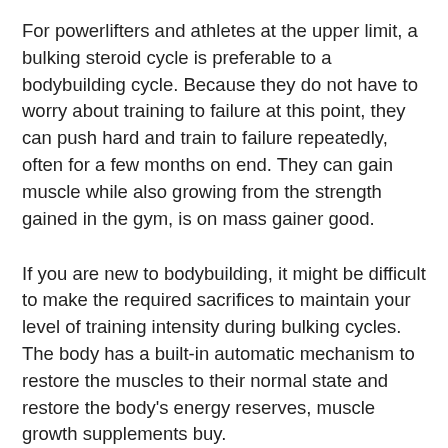For powerlifters and athletes at the upper limit, a bulking steroid cycle is preferable to a bodybuilding cycle. Because they do not have to worry about training to failure at this point, they can push hard and train to failure repeatedly, often for a few months on end. They can gain muscle while also growing from the strength gained in the gym, is on mass gainer good.
If you are new to bodybuilding, it might be difficult to make the required sacrifices to maintain your level of training intensity during bulking cycles. The body has a built-in automatic mechanism to restore the muscles to their normal state and restore the body's energy reserves, muscle growth supplements buy.
If you want to increase your muscle mass you need to increase the intensity and